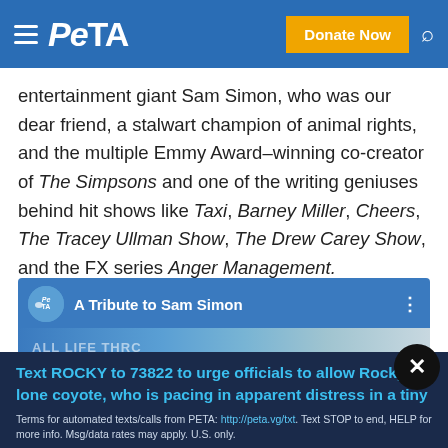PETA — Donate Now
entertainment giant Sam Simon, who was our dear friend, a stalwart champion of animal rights, and the multiple Emmy Award–winning co-creator of The Simpsons and one of the writing geniuses behind hit shows like Taxi, Barney Miller, Cheers, The Tracey Ullman Show, The Drew Carey Show, and the FX series Anger Management.
[Figure (screenshot): YouTube video thumbnail titled 'A Tribute to Sam Simon' with PETA logo circle, play button, and video content showing a person with overlay text about a chicken.]
Text ROCKY to 73822 to urge officials to allow Rocky a lone coyote, who is pacing in apparent distress in a tiny cage, to move to an accredited sanctuary.
Terms for automated texts/calls from PETA: http://peta.vg/txt. Text STOP to end, HELP for more info. Msg/data rates may apply. U.S. only.